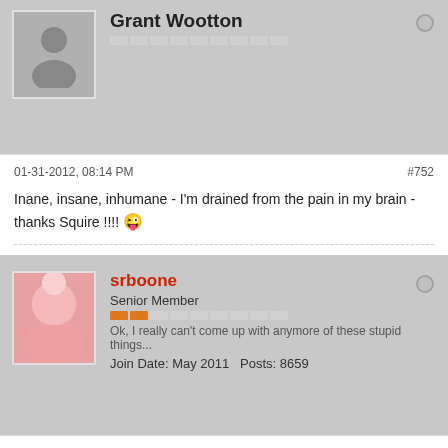Grant Wootton
01-31-2012, 08:14 PM    #752
Inane, insane, inhumane - I'm drained from the pain in my brain - thanks Squire !!!!
srboone
Senior Member
Ok, I really can't come up with anymore of these stupid things...
Join Date: May 2011   Posts: 8659
01-31-2012, 10:37 PM    #753
Getting back on track.